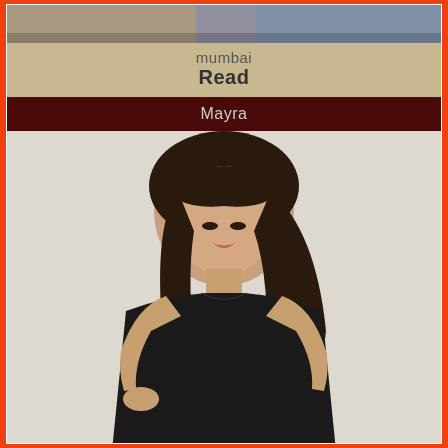[Figure (photo): Partial top photo showing jeans/casual clothing, cropped]
mumbai
Read
Mayra
[Figure (photo): Young woman with long dark wavy hair wearing a black sleeveless dress, posing against a white background]